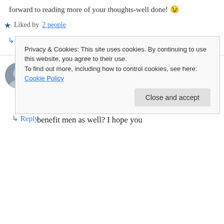forward to reading more of your thoughts-well done! 😉
★ Liked by 2 people
↳ Reply
Steven Capps on November 26, 2015 at 2:23 pm
Hi there, awesome concept and I hope your book is doing well! Obviously, your target demographic is women, but do you believe that your advice can benefit men as well? I hope you
Privacy & Cookies: This site uses cookies. By continuing to use this website, you agree to their use.
To find out more, including how to control cookies, see here: Cookie Policy
Close and accept
↳ Reply